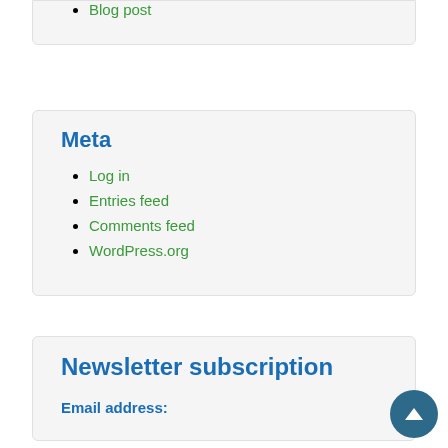Blog post
Meta
Log in
Entries feed
Comments feed
WordPress.org
Newsletter subscription
Email address: